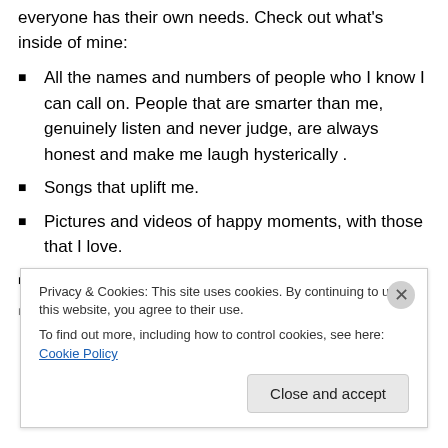everyone has their own needs. Check out what's inside of mine:
All the names and numbers of people who I know I can call on. People that are smarter than me,  genuinely listen and never judge, are always honest and make me laugh hysterically .
Songs that uplift me.
Pictures and videos of happy moments, with those that I love.
Books that offer positive insight.
A note to future yourself...
Privacy & Cookies: This site uses cookies. By continuing to use this website, you agree to their use.
To find out more, including how to control cookies, see here: Cookie Policy